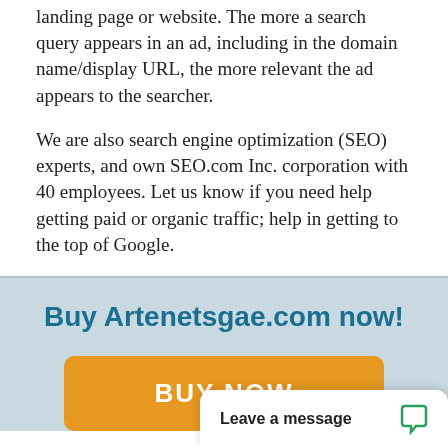landing page or website. The more a search query appears in an ad, including in the domain name/display URL, the more relevant the ad appears to the searcher.
We are also search engine optimization (SEO) experts, and own SEO.com Inc. corporation with 40 employees. Let us know if you need help getting paid or organic traffic; help in getting to the top of Google.
Buy Artenetsgae.com now!
BUY NOW
Leave a message